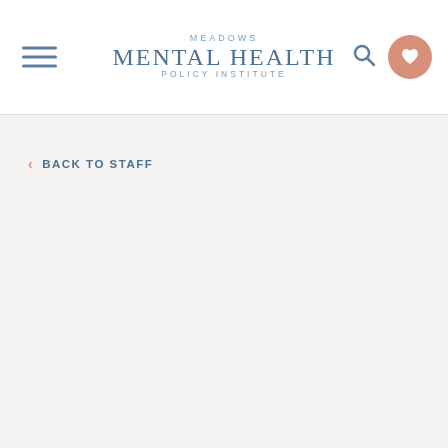MEADOWS MENTAL HEALTH POLICY INSTITUTE
BACK TO STAFF